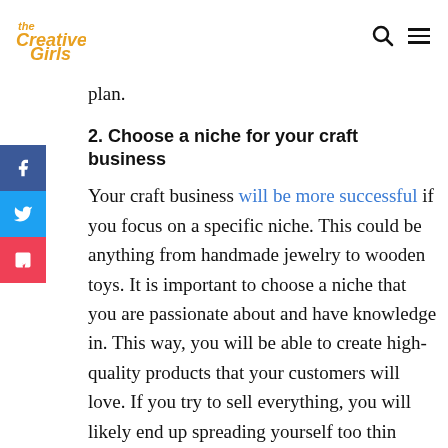The Creative Girls
plan.
2. Choose a niche for your craft business
Your craft business will be more successful if you focus on a specific niche. This could be anything from handmade jewelry to wooden toys. It is important to choose a niche that you are passionate about and have knowledge in. This way, you will be able to create high-quality products that your customers will love. If you try to sell everything, you will likely end up spreading yourself too thin